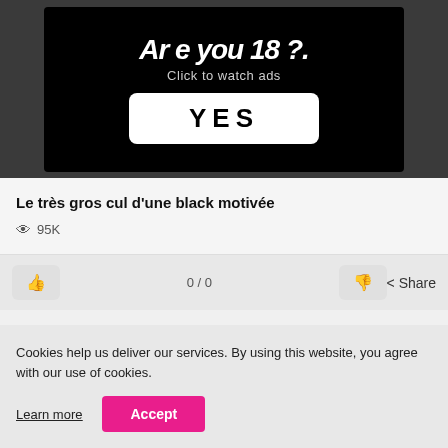[Figure (screenshot): Ad banner with black background showing partial text 'Are you 18?' in white italic bold font, 'Click to watch ads' subtitle, and a white YES button]
Le très gros cul d'une black motivée
👁 95K
👍  0 / 0  👎  Share
Cookies help us deliver our services. By using this website, you agree with our use of cookies.
Learn more  Accept